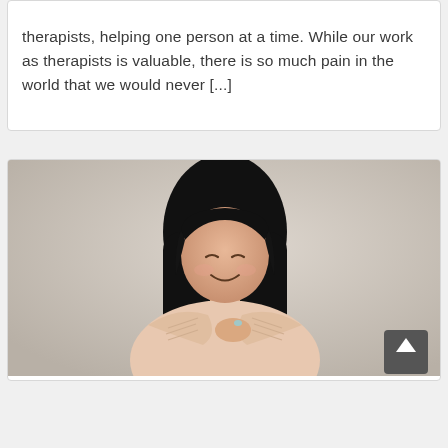therapists, helping one person at a time. While our work as therapists is valuable, there is so much pain in the world that we would never [...]
[Figure (photo): A young woman with long black hair and eyes closed, smiling peacefully and hugging herself, wearing a light beige knit sweater, photographed against a neutral beige/grey background. A dark grey back-to-top button with an upward chevron arrow is visible in the lower right of the image.]